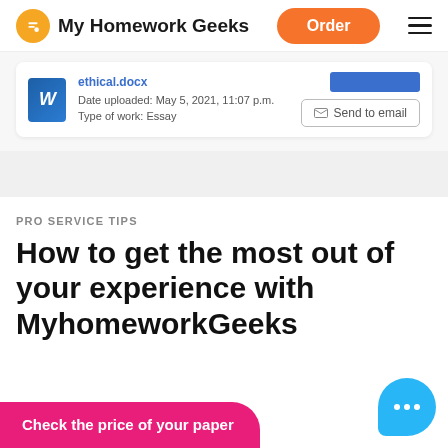My Homework Geeks | Order | Menu
[Figure (screenshot): File card showing ethical.docx document with date uploaded May 5, 2021, 11:07 p.m., Type of work: Essay, with a Send to email button]
PRO SERVICE TIPS
How to get the most out of your experience with MyhomeworkGeeks
Check the price of your paper